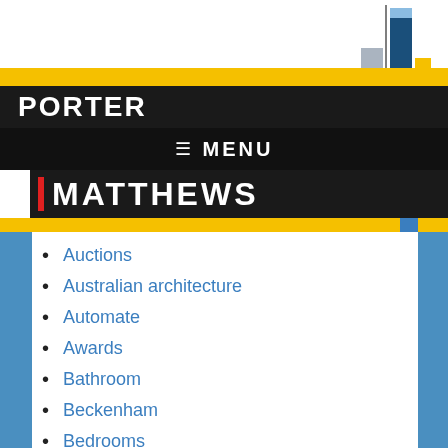[Figure (illustration): Bar chart logo graphic in top right corner with blue and gold bars]
PORTER | MATTHEWS — navigation menu header with MENU label
Auctions
Australian architecture
Automate
Awards
Bathroom
Beckenham
Bedrooms
Belmont
Borrowing
Budget
Building inspection report
Buy-Rent Index
Buyers